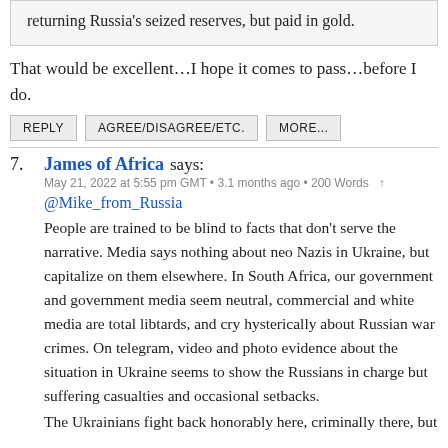returning Russia's seized reserves, but paid in gold.
That would be excellent…I hope it comes to pass…before I do.
REPLY
AGREE/DISAGREE/ETC.
MORE...
7. James of Africa says:
May 21, 2022 at 5:55 pm GMT • 3.1 months ago • 200 Words ↑
@Mike_from_Russia
People are trained to be blind to facts that don't serve the narrative. Media says nothing about neo Nazis in Ukraine, but capitalize on them elsewhere. In South Africa, our government and government media seem neutral, commercial and white media are total libtards, and cry hysterically about Russian war crimes. On telegram, video and photo evidence about the situation in Ukraine seems to show the Russians in charge but suffering casualties and occasional setbacks.
The Ukrainians fight back honorably here, criminally there, but